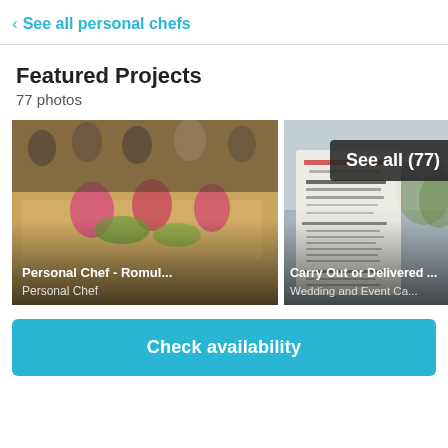< See all personal chefs
Featured Projects
77 photos
[Figure (photo): Group photo of people at a catered dining event, with pink napkins and food on the table. Caption: Personal Chef - Romul... / Personal Chef]
[Figure (photo): Blurred image of a catering menu document with outdoor venue. Badge overlay: See all (77). Caption: Carry Out or Delivered... / Wedding and Event Ca...]
Check availability